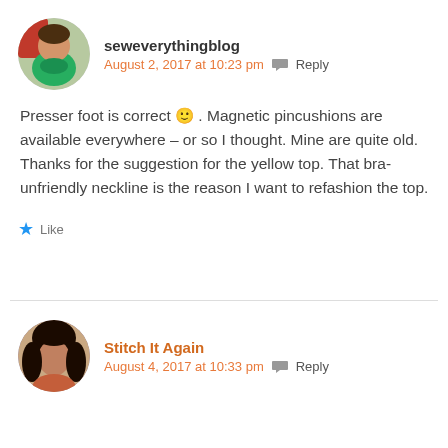seweverythingblog
August 2, 2017 at 10:23 pm  Reply
Presser foot is correct 🙂 . Magnetic pincushions are available everywhere – or so I thought. Mine are quite old.
Thanks for the suggestion for the yellow top. That bra-unfriendly neckline is the reason I want to refashion the top.
Like
Stitch It Again
August 4, 2017 at 10:33 pm  Reply